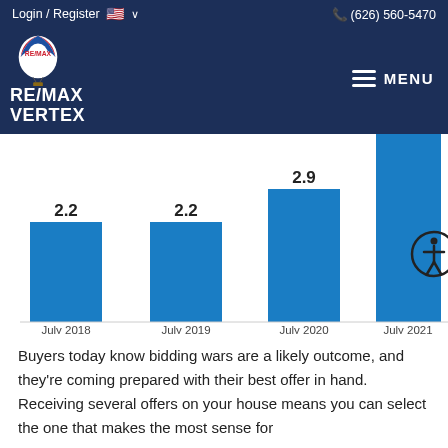Login / Register   🇺🇸 ∨   (626) 560-5470
[Figure (logo): RE/MAX Vertex logo with hot air balloon and brand name]
[Figure (bar-chart): Offers per listing]
Buyers today know bidding wars are a likely outcome, and they're coming prepared with their best offer in hand. Receiving several offers on your house means you can select the one that makes the most sense for